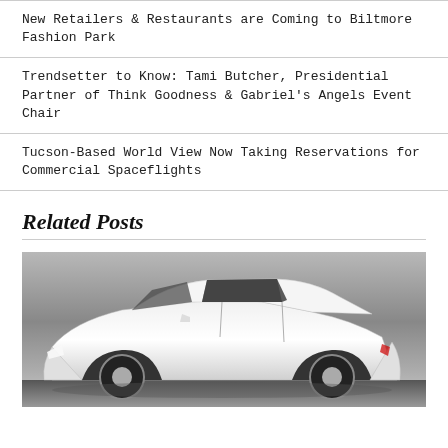New Retailers & Restaurants are Coming to Biltmore Fashion Park
Trendsetter to Know: Tami Butcher, Presidential Partner of Think Goodness & Gabriel's Angels Event Chair
Tucson-Based World View Now Taking Reservations for Commercial Spaceflights
Related Posts
[Figure (photo): Black and white photo of a white luxury sedan (car) against a grey background, showing the side profile of the vehicle.]